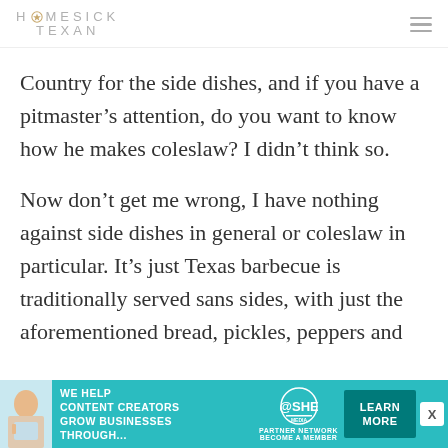HOMESICK TEXAN
Country for the side dishes, and if you have a pitmaster’s attention, do you want to know how he makes coleslaw? I didn’t think so.
Now don’t get me wrong, I have nothing against side dishes in general or coleslaw in particular. It’s just Texas barbecue is traditionally served sans sides, with just the aforementioned bread, pickles, peppers and
[Figure (infographic): Advertisement banner for SHE Media Partner Network. Teal background with text: WE HELP CONTENT CREATORS GROW BUSINESSES THROUGH... SHE logo, PARTNER NETWORK, BECOME A MEMBER, LEARN MORE button.]